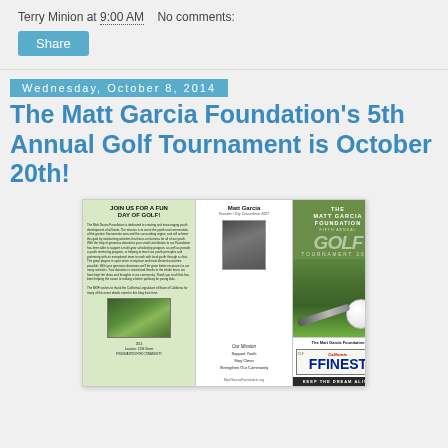Terry Minion at 9:00 AM   No comments:
Share
Wednesday, October 8, 2014
The Matt Garcia Foundation's 5th Annual Golf Tournament is October 20th!
[Figure (photo): Brochure for The Matt Garcia Foundation 5th Annual Golf Tournament showing event details, photo of Matt Garcia, foundation mission, and California license plate with FFINEST text]